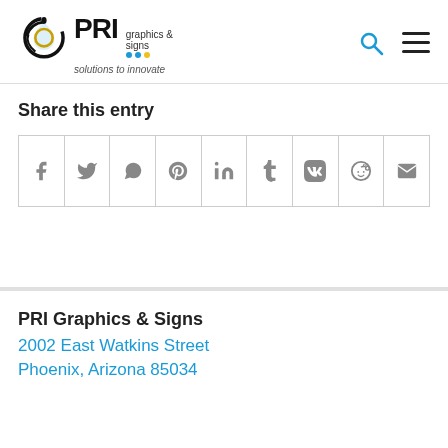[Figure (logo): PRI Graphics & Signs logo with circular icon, bold PRI text, 'graphics & signs' tagline with colored dots, and 'solutions to innovate' subtitle]
Share this entry
[Figure (infographic): Social share buttons row with icons for Facebook, Twitter, WhatsApp, Pinterest, LinkedIn, Tumblr, VK, Reddit, and Email]
PRI Graphics & Signs
2002 East Watkins Street
Phoenix, Arizona 85034